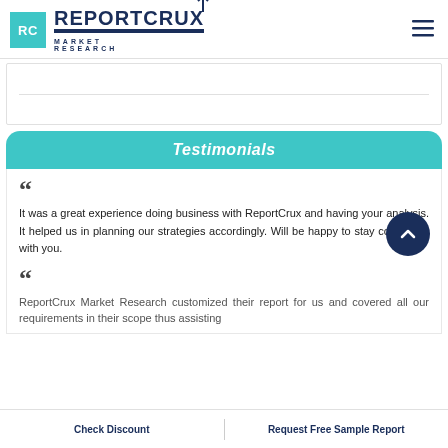RC REPORTCRUX MARKET RESEARCH
Testimonials
It was a great experience doing business with ReportCrux and having your analysis. It helped us in planning our strategies accordingly. Will be happy to stay connected with you.
ReportCrux Market Research customized their report for us and covered all our requirements in their scope thus assisting
Check Discount   Request Free Sample Report